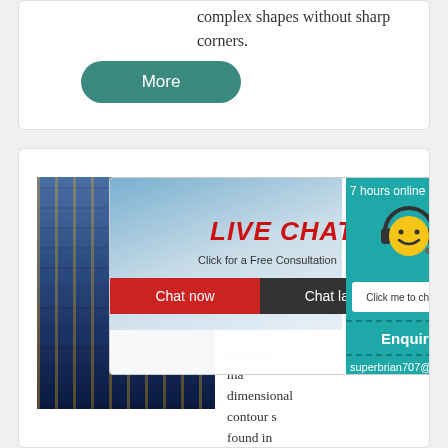complex shapes without sharp corners.
[Figure (other): Green rounded button labeled 'More']
[Figure (photo): Industrial factory/mill equipment photo]
[Figure (other): Live chat popup overlay with photo of workers in hard hats, 'LIVE CHAT' title in red italic, 'Click for a Free Consultation' subtitle, Chat now (red) and Chat later (dark) buttons, and teal side panel with smiley face icon, '7 hours online', 'Click me to chat >>' button, 'Enquiry' section, and email starting with superbrian707@g]
mills are ideal for ma dimensional contour s found in the mold and the manufacturing of and fulfilling general requirements.To prop